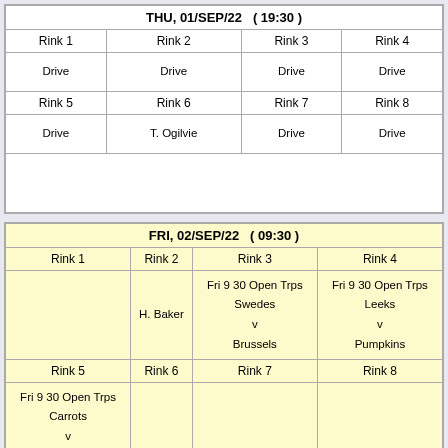| THU, 01/SEP/22   ( 19:30 ) |
| --- |
| Rink 1 | Rink 2 | Rink 3 | Rink 4 |
| Drive | Drive | Drive | Drive |
| Rink 5 | Rink 6 | Rink 7 | Rink 8 |
| Drive | T. Ogilvie | Drive | Drive |
| FRI, 02/SEP/22   ( 09:30 ) |
| --- |
| Rink 1 | Rink 2 | Rink 3 | Rink 4 |
|  | H. Baker | Fri 9 30 Open Trps
Swedes
v
Brussels | Fri 9 30 Open Trps
Leeks
v
Pumpkins |
| Rink 5 | Rink 6 | Rink 7 | Rink 8 |
| Fri 9 30 Open Trps
Carrots
v
Eggplants |  |  |  |